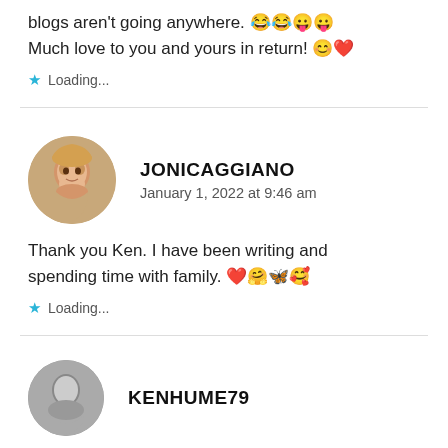blogs aren't going anywhere. 😂😂😛😛
Much love to you and yours in return! 😊❤️
★ Loading...
JONICAGGIANO
January 1, 2022 at 9:46 am
Thank you Ken. I have been writing and spending time with family. ❤️🤗🦋🥰
★ Loading...
KENHUME79